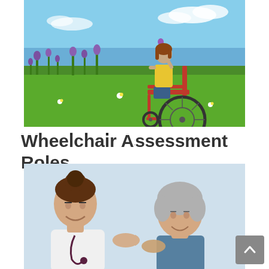[Figure (photo): A young woman in a yellow top seated in a red wheelchair in a green meadow with purple wildflowers, smelling a small flower, with a blue sky in the background.]
Wheelchair Assessment Roles
[Figure (photo): A smiling female healthcare professional in a white coat with a stethoscope interacting warmly with an elderly woman with grey hair, in an indoor setting.]